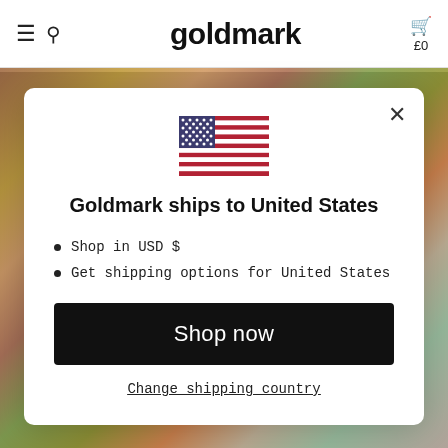goldmark  £0
[Figure (screenshot): US flag SVG icon centered in modal]
Goldmark ships to United States
Shop in USD $
Get shipping options for United States
Shop now
Change shipping country